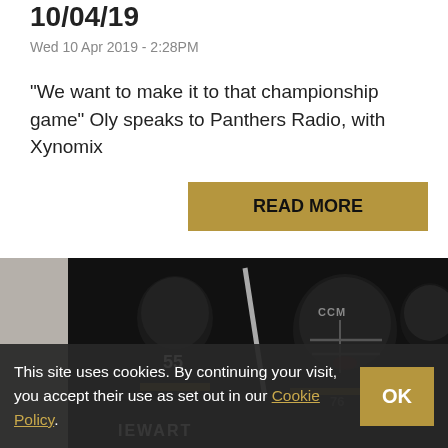10/04/19
Wed 10 Apr 2019 - 2:28PM
"We want to make it to that championship game" Oly speaks to Panthers Radio, with Xynomix
READ MORE
[Figure (photo): Ice hockey players in black jerseys celebrating on ice, including player number 55 (Stewart) facing away, and a player wearing a CCM helmet facing camera with mouth open in celebration]
This site uses cookies. By continuing your visit, you accept their use as set out in our Cookie Policy.